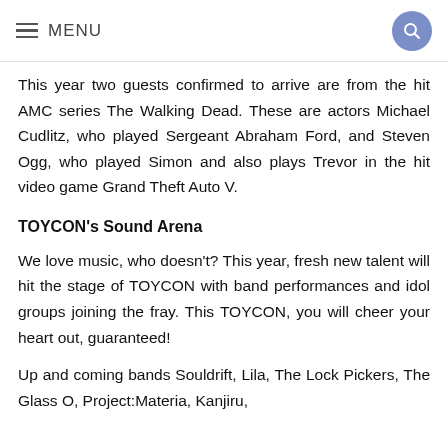≡ MENU
This year two guests confirmed to arrive are from the hit AMC series The Walking Dead. These are actors Michael Cudlitz, who played Sergeant Abraham Ford, and Steven Ogg, who played Simon and also plays Trevor in the hit video game Grand Theft Auto V.
TOYCON's Sound Arena
We love music, who doesn't? This year, fresh new talent will hit the stage of TOYCON with band performances and idol groups joining the fray. This TOYCON, you will cheer your heart out, guaranteed!
Up and coming bands Souldrift, Lila, The Lock Pickers, The Glass O, Project:Materia, Kanjiru,